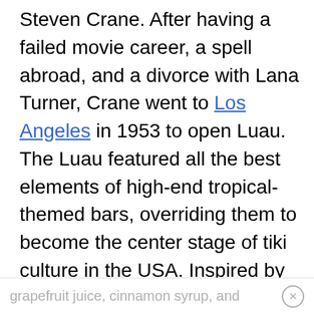Steven Crane. After having a failed movie career, a spell abroad, and a divorce with Lana Turner, Crane went to Los Angeles in 1953 to open Luau. The Luau featured all the best elements of high-end tropical-themed bars, overriding them to become the center stage of tiki culture in the USA. Inspired by the Test Pilot cocktail, Crane developed the Jet Pilot at the Luau in 1958. The jet pilot was similar to the 1941 Test pilot but slightly spicier with the addition of
grapefruit juice, cinnamon syrup, and